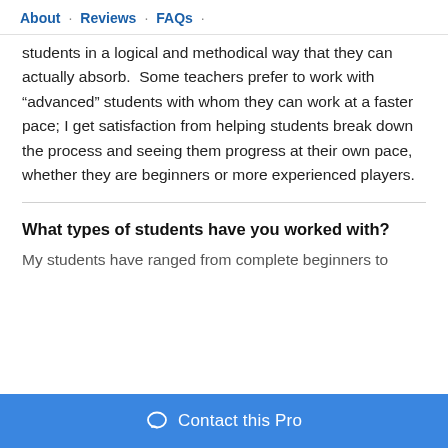About · Reviews · FAQs ·
students in a logical and methodical way that they can actually absorb.  Some teachers prefer to work with "advanced" students with whom they can work at a faster pace; I get satisfaction from helping students break down the process and seeing them progress at their own pace, whether they are beginners or more experienced players.
What types of students have you worked with?
My students have ranged from complete beginners to